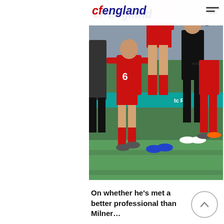[Figure (photo): Liverpool football players in red kits (number 6 visible) walking on a football pitch after a match, surrounded by cameras and media personnel. A man in a black Nike tracksuit is also visible.]
On whether he's met a better professional than Milner…